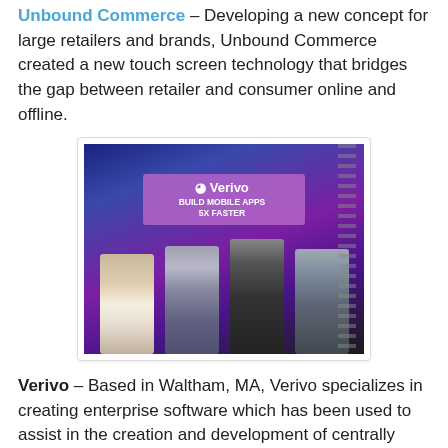Unbound Commerce – Developing a new concept for large retailers and brands, Unbound Commerce created a new touch screen technology that bridges the gap between retailer and consumer online and offline.
[Figure (photo): Panel of four people seated on chairs on a stage in front of a Verivo branded banner that reads 'Build Mobile Apps 5x Faster'. The background is dark blue/purple stage lighting.]
Verivo – Based in Waltham, MA, Verivo specializes in creating enterprise software which has been used to assist in the creation and development of centrally built, deployed, managed and updated mobile applications simultaneously and securely across multiple devices.
vFrame – Creating a patent pending product, 'virtual reality frames' connect to your smartphone and from there you can